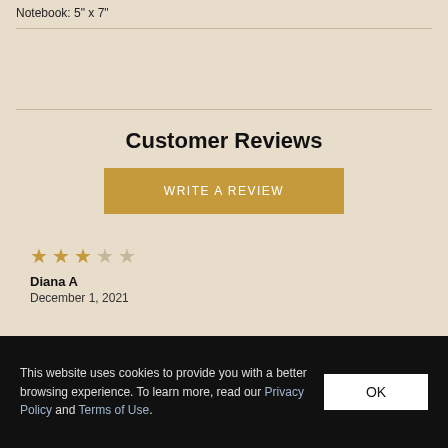Notebook: 5" x 7"
Customer Reviews
WRITE A REVIEW
★★★☆☆ Diana A — December 1, 2021
This website uses cookies to provide you with a better browsing experience. To learn more, read our Privacy Policy and Terms of Use.